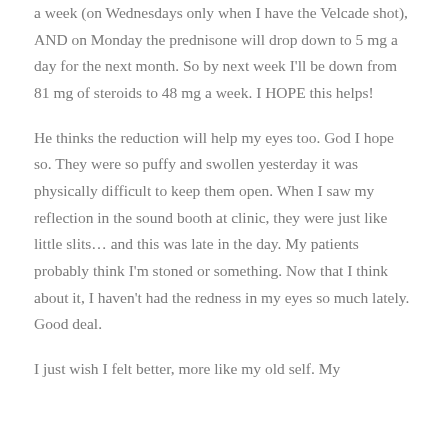a week (on Wednesdays only when I have the Velcade shot), AND on Monday the prednisone will drop down to 5 mg a day for the next month. So by next week I'll be down from 81 mg of steroids to 48 mg a week. I HOPE this helps!
He thinks the reduction will help my eyes too. God I hope so. They were so puffy and swollen yesterday it was physically difficult to keep them open. When I saw my reflection in the sound booth at clinic, they were just like little slits… and this was late in the day. My patients probably think I'm stoned or something. Now that I think about it, I haven't had the redness in my eyes so much lately. Good deal.
I just wish I felt better, more like my old self. My